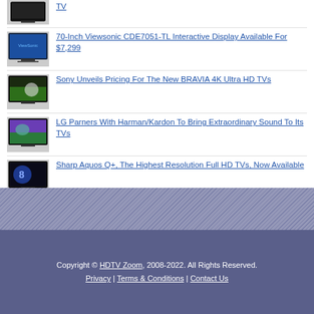(partial TV item at top)
70-Inch Viewsonic CDE7051-TL Interactive Display Available For $7,299
Sony Unveils Pricing For The New BRAVIA 4K Ultra HD TVs
LG Parners With Harman/Kardon To Bring Extraordinary Sound To Its TVs
Sharp Aquos Q+, The Highest Resolution Full HD TVs, Now Available
Copyright © HDTV Zoom, 2008-2022. All Rights Reserved. Privacy | Terms & Conditions | Contact Us